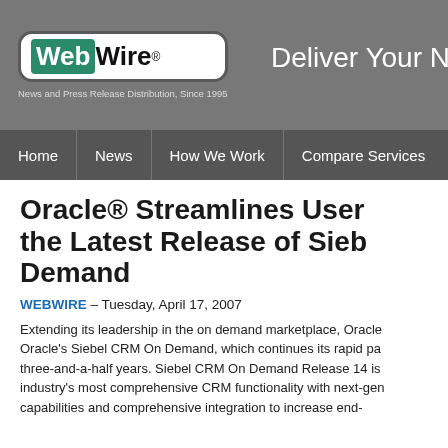WebWire® – News and Press Release Distribution, Since 1995 | Deliver Your N
Home | News | How We Work | Compare Services
Oracle® Streamlines User the Latest Release of Sieb Demand
WEBWIRE – Tuesday, April 17, 2007
Extending its leadership in the on demand marketplace, Oracle Oracle's Siebel CRM On Demand, which continues its rapid pa three-and-a-half years. Siebel CRM On Demand Release 14 is industry's most comprehensive CRM functionality with next-gen capabilities and comprehensive integration to increase end-